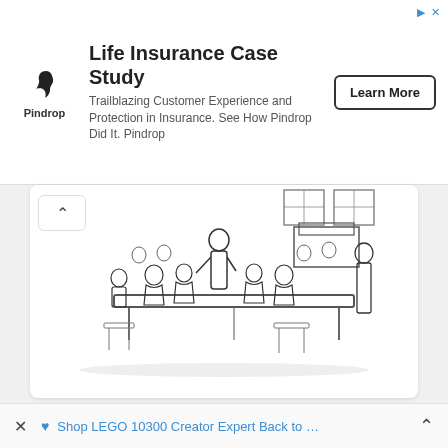[Figure (other): Advertisement banner for Pindrop Life Insurance Case Study with logo, text and Learn More button]
[Figure (illustration): Black and white historical illustration of a colonial-era classroom or meeting scene with people gathered around a table]
Come to the New England Colonies Now! by Anna He on Prezi
Paglu
Shop LEGO 10300 Creator Expert Back to ...